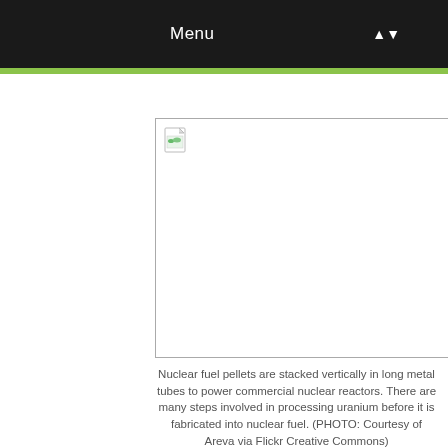Menu
[Figure (photo): Broken image placeholder with border — nuclear fuel pellets photo (not loaded). Courtesy of Areva via Flickr Creative Commons.]
Nuclear fuel pellets are stacked vertically in long metal tubes to power commercial nuclear reactors. There are many steps involved in processing uranium before it is fabricated into nuclear fuel. (PHOTO: Courtesy of Areva via Flickr Creative Commons)